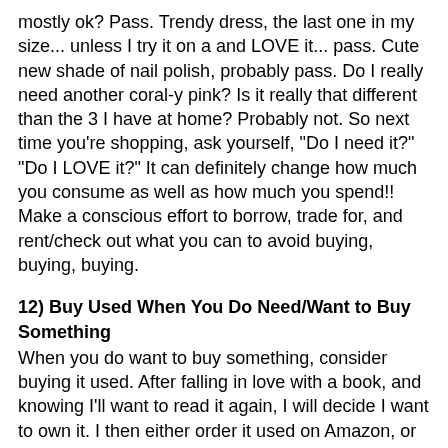mostly ok? Pass. Trendy dress, the last one in my size... unless I try it on a and LOVE it... pass. Cute new shade of nail polish, probably pass. Do I really need another coral-y pink? Is it really that different than the 3 I have at home? Probably not. So next time you're shopping, ask yourself, "Do I need it?" "Do I LOVE it?" It can definitely change how much you consume as well as how much you spend!! Make a conscious effort to borrow, trade for, and rent/check out what you can to avoid buying, buying, buying.
12) Buy Used When You Do Need/Want to Buy Something
When you do want to buy something, consider buying it used. After falling in love with a book, and knowing I'll want to read it again, I will decide I want to own it. I then either order it used on Amazon, or check out local bookstores that sell used books. If it's not there, I can wait. This also goes for DVDs, CDs, and even clothes/home items. When I am looking for a new lamp, an end table, something to spice up my wardrobe, etc. I spend an afternoon combing through local thrift stores. There are all sorts of treasures to be found there. Sometimes they're quirky, but sometimes it's the